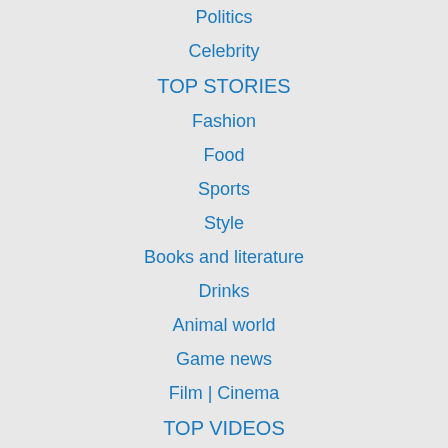Politics
Celebrity
TOP STORIES
Fashion
Food
Sports
Style
Books and literature
Drinks
Animal world
Game news
Film | Cinema
TOP VIDEOS
Music
Car